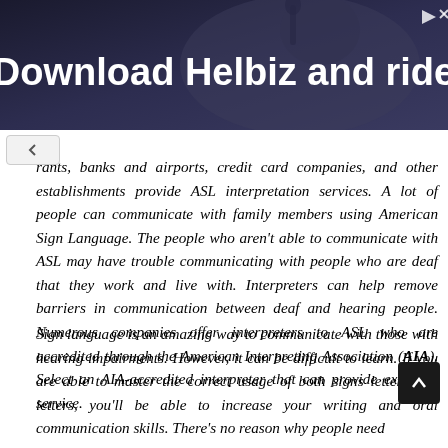[Figure (photo): Advertisement banner showing 'Download Helbiz and ride' text over a dark background image of a person, with navigation icons in the top-right corner.]
rants, banks and airports, credit card companies, and other establishments provide ASL interpretation services. A lot of people can communicate with family members using American Sign Language. The people who aren't able to communicate with ASL may have trouble communicating with people who are deaf that they work and live with. Interpreters can help remove barriers in communication between deaf and hearing people. Numerous companies offer interpreters to ASL who are accredited through the American Interpreting Association (AIA). Select an AIA-accredited interpreter that can provide excellent service.
Sign language is an amazing way to communicate with those with hearing impairments. However, it can be difficult to learn. If you are able to master the correct usage of both signs letters and letters, you'll be able to increase your writing and oral communication skills. There's no reason why people need